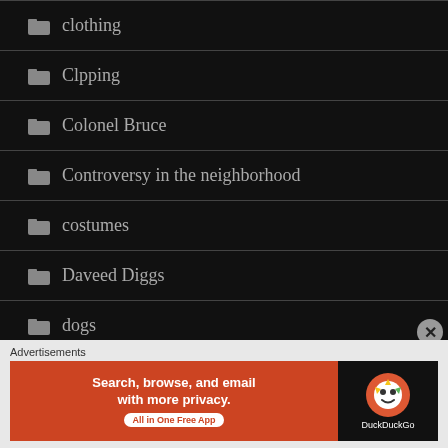clothing
Clpping
Colonel Bruce
Controversy in the neighborhood
costumes
Daveed Diggs
dogs
[Figure (screenshot): DuckDuckGo advertisement banner: orange background with text 'Search, browse, and email with more privacy. All in One Free App' and DuckDuckGo logo on black background]
Advertisements